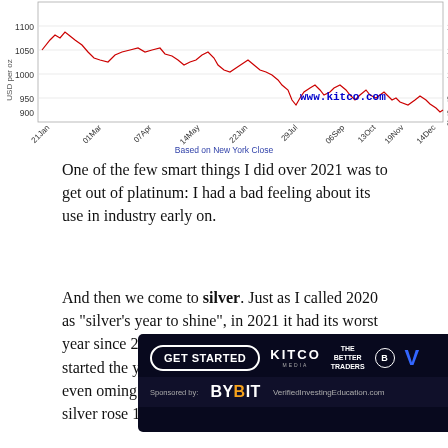[Figure (continuous-plot): Line chart showing platinum price in USD per oz throughout 2021, from approximately 1050 in January, peaking around 1100-1150, then declining through the year to around 900-950 by December. X-axis labels: 21Jan, 01Mar, 07Apr, 14May, 22Jun, 29Jul, 06Sep, 13Oct, 19Nov, 14Dec. Y-axis from 850 to 1100. Watermark: www.kitco.com. Caption: Based on New York Close.]
One of the few smart things I did over 2021 was to get out of platinum: I had a bad feeling about its use in industry early on.
And then we come to silver. Just as I called 2020 as "silver's year to shine", in 2021 it had its worst year since 2014, the worst in seven years. Silver started the year at a nice ... year's ... great perfo... that even... oming off a good one. Or two, actually: silver rose 15% in 2019,
[Figure (screenshot): Advertisement overlay: Kitco Media 'GET STARTED' banner, sponsored by BYBIT, VerifiedInvestingEducation.com, with The Better Traders logo and a V logo.]